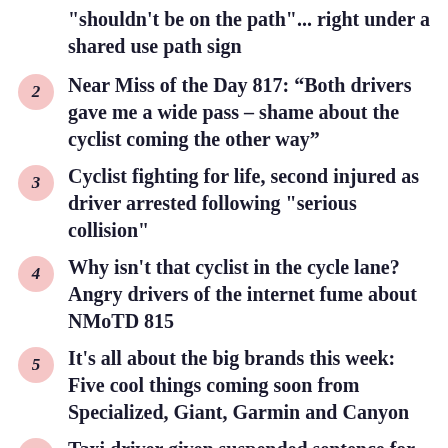"shouldn't be on the path"... right under a shared use path sign
2 Near Miss of the Day 817: “Both drivers gave me a wide pass – shame about the cyclist coming the other way”
3 Cyclist fighting for life, second injured as driver arrested following "serious collision"
4 Why isn't that cyclist in the cycle lane? Angry drivers of the internet fume about NMoTD 815
5 It's all about the big brands this week: Five cool things coming soon from Specialized, Giant, Garmin and Canyon
6 Taxi driver given suspended sentence for deliberately hitting cyclist who called him a “fat f**k”